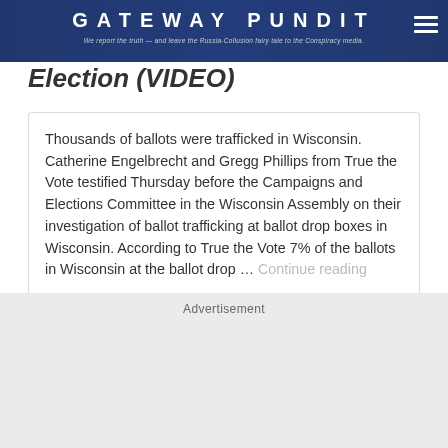GATEWAY PUNDIT — We report the truth — and leave the Russia-Collusion fairy tale to the Conspiracy media.
Election (VIDEO)
Thousands of ballots were trafficked in Wisconsin. Catherine Engelbrecht and Gregg Phillips from True the Vote testified Thursday before the Campaigns and Elections Committee in the Wisconsin Assembly on their investigation of ballot trafficking at ballot drop boxes in Wisconsin. According to True the Vote 7% of the ballots in Wisconsin at the ballot drop … Continue reading
The Gateway Pundit
[Figure (other): Advertisement placeholder section]
Advertisement